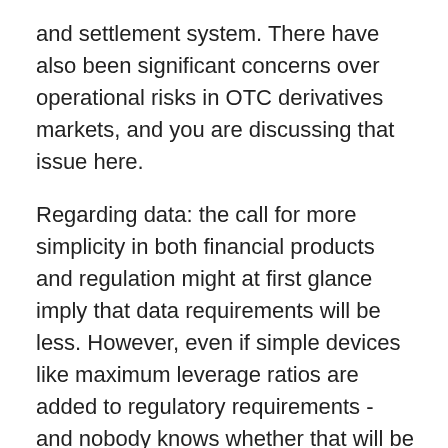and settlement system. There have also been significant concerns over operational risks in OTC derivatives markets, and you are discussing that issue here.
Regarding data: the call for more simplicity in both financial products and regulation might at first glance imply that data requirements will be less. However, even if simple devices like maximum leverage ratios are added to regulatory requirements - and nobody knows whether that will be the case or not - it will probably be in addition to Basel II, which is more data¬intensive than Basel I. Furthermore, the risks that remain will, it is hoped, be better monitored than before, and the macroprudential framework requires more data and analysis, at least for the supervisors. It